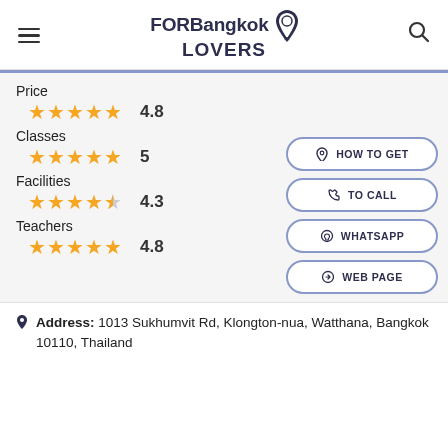FORBangkok LOVERS
Price
★★★★★ 4.8
Classes
★★★★★ 5
Facilities
★★★★½ 4.3
Teachers
★★★★★ 4.8
HOW TO GET
TO CALL
WHATSAPP
WEB PAGE
Address: 1013 Sukhumvit Rd, Klongton-nua, Watthana, Bangkok 10110, Thailand